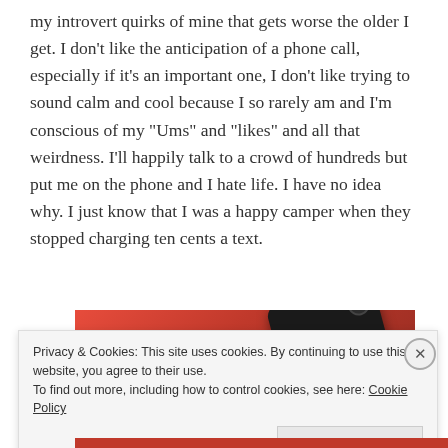my introvert quirks of mine that gets worse the older I get. I don't like the anticipation of a phone call, especially if it's an important one, I don't like trying to sound calm and cool because I so rarely am and I'm conscious of my "Ums" and "likes" and all that weirdness. I'll happily talk to a crowd of hundreds but put me on the phone and I hate life. I have no idea why. I just know that I was a happy camper when they stopped charging ten cents a text.
[Figure (photo): A red smartphone with a dark case photographed from above against a red background]
Privacy & Cookies: This site uses cookies. By continuing to use this website, you agree to their use.
To find out more, including how to control cookies, see here: Cookie Policy
Close and accept